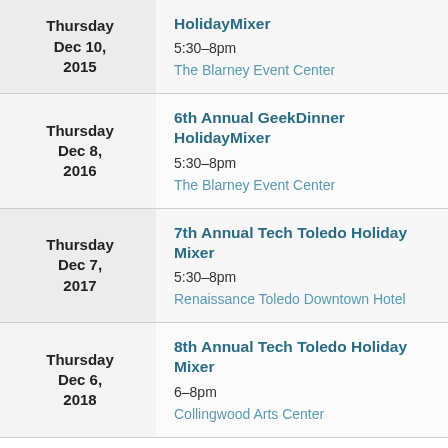| Date | Event |
| --- | --- |
| Thursday Dec 10, 2015 | HolidayMixer
5:30–8pm
The Blarney Event Center |
| Thursday Dec 8, 2016 | 6th Annual GeekDinner HolidayMixer
5:30–8pm
The Blarney Event Center |
| Thursday Dec 7, 2017 | 7th Annual Tech Toledo Holiday Mixer
5:30–8pm
Renaissance Toledo Downtown Hotel |
| Thursday Dec 6, 2018 | 8th Annual Tech Toledo Holiday Mixer
6–8pm
Collingwood Arts Center |